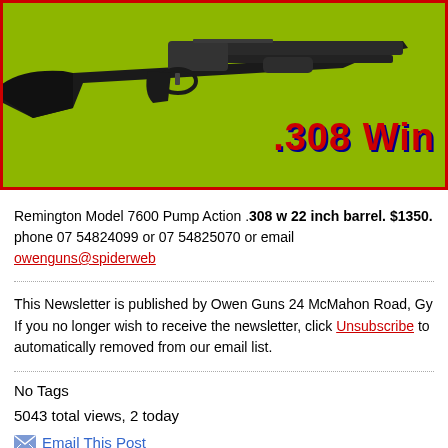[Figure (photo): Remington Model 7600 Pump Action rifle on a lime green background with red border. Text '.308 Win' in large red bold font with blue shadow visible on the right side.]
Remington Model 7600 Pump Action .308 w 22 inch barrel. $1350. phone 07 54824099 or 07 54825070 or email owenguns@spiderweb
This Newsletter is published by Owen Guns 24 McMahon Road, Gy If you no longer wish to receive the newsletter, click Unsubscribe to automatically removed from our email list.
No Tags
5043 total views, 2 today
Email This Post